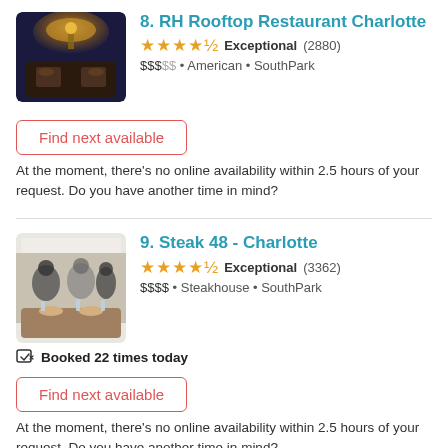8. RH Rooftop Restaurant Charlotte
★★★★½ Exceptional (2880) $$$$$ • American • SouthPark
Find next available
At the moment, there's no online availability within 2.5 hours of your request. Do you have another time in mind?
9. Steak 48 - Charlotte
★★★★½ Exceptional (3362) $$$$ • Steakhouse • SouthPark
Booked 22 times today
Find next available
At the moment, there's no online availability within 2.5 hours of your request. Do you have another time in mind?